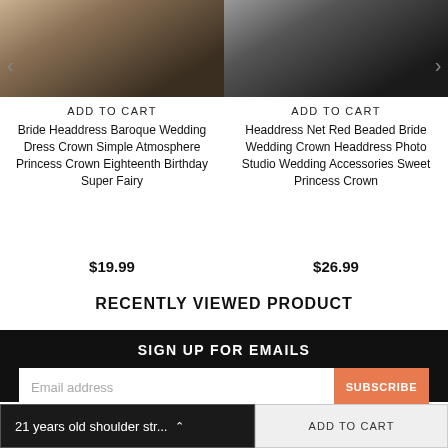[Figure (photo): Bride headdress baroque wedding crown with pearls on dark background, partial top crop]
[Figure (photo): Headdress net red beaded bride wedding crown on dark background, partial top crop]
ADD TO CART
ADD TO CART
Bride Headdress Baroque Wedding Dress Crown Simple Atmosphere Princess Crown Eighteenth Birthday Super Fairy
Headdress Net Red Beaded Bride Wedding Crown Headdress Photo Studio Wedding Accessories Sweet Princess Crown
$19.99
$26.99
RECENTLY VIEWED PRODUCT
SIGN UP FOR EMAILS
Email address
SUBSCRIBE
21 years old shoulder str...
ADD TO CART